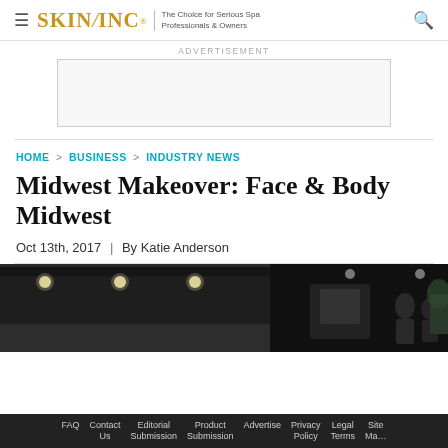SKIN INC® | The Choice for Serious Spa Professionals & Owners
ADVERTISEMENT
HOME > BUSINESS > INDUSTRY NEWS
Midwest Makeover: Face & Body Midwest
Oct 13th, 2017  |  By Katie Anderson
[Figure (photo): Interior of a convention center/expo hall with overhead lights and exhibition equipment visible]
FAQ  Contact Us  Editorial Submission  Product Submission  Advertise  Privacy Policy  Legal Terms  Site Ma[p]